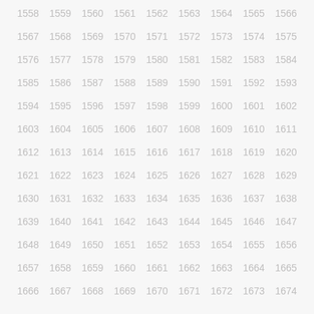1558 1559 1560 1561 1562 1563 1564 1565 1566 1567 1568 1569 1570 1571 1572 1573 1574 1575 1576 1577 1578 1579 1580 1581 1582 1583 1584 1585 1586 1587 1588 1589 1590 1591 1592 1593 1594 1595 1596 1597 1598 1599 1600 1601 1602 1603 1604 1605 1606 1607 1608 1609 1610 1611 1612 1613 1614 1615 1616 1617 1618 1619 1620 1621 1622 1623 1624 1625 1626 1627 1628 1629 1630 1631 1632 1633 1634 1635 1636 1637 1638 1639 1640 1641 1642 1643 1644 1645 1646 1647 1648 1649 1650 1651 1652 1653 1654 1655 1656 1657 1658 1659 1660 1661 1662 1663 1664 1665 1666 1667 1668 1669 1670 1671 1672 1673 1674